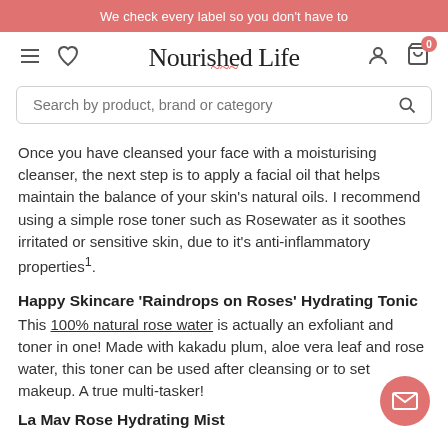We check every label so you don't have to
[Figure (logo): Nourished Life logo with navigation icons (hamburger menu, heart, user, cart with badge showing 0)]
Search by product, brand or category
Once you have cleansed your face with a moisturising cleanser, the next step is to apply a facial oil that helps maintain the balance of your skin's natural oils. I recommend using a simple rose toner such as Rosewater as it soothes irritated or sensitive skin, due to it's anti-inflammatory properties1.
Happy Skincare 'Raindrops on Roses' Hydrating Tonic
This 100% natural rose water is actually an exfoliant and toner in one! Made with kakadu plum, aloe vera leaf and rose water, this toner can be used after cleansing or to set makeup. A true multi-tasker!
La Mav Rose Hydrating Mist